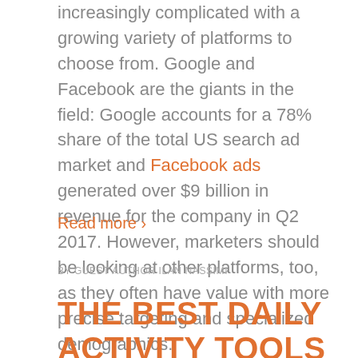increasingly complicated with a growing variety of platforms to choose from. Google and Facebook are the giants in the field: Google accounts for a 78% share of the total US search ad market and Facebook ads generated over $9 billion in revenue for the company in Q2 2017. However, marketers should be looking at other platforms, too, as they often have value with more precise targeting and specialized demographics.
Read more ›
BY GUEST AUTHOR ILAN NASSIMI
THE BEST DAILY ACTIVITY TOOLS FOR